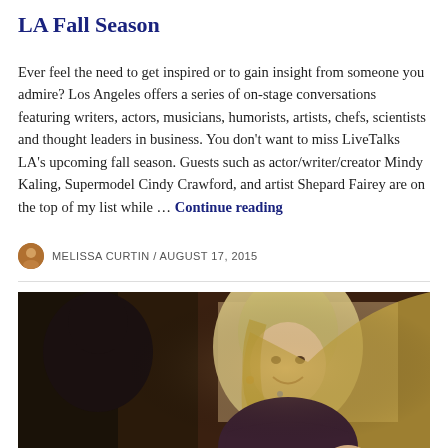LA Fall Season
Ever feel the need to get inspired or to gain insight from someone you admire? Los Angeles offers a series of on-stage conversations featuring writers, actors, musicians, humorists, artists, chefs, scientists and thought leaders in business. You don't want to miss LiveTalks LA's upcoming fall season. Guests such as actor/writer/creator Mindy Kaling, Supermodel Cindy Crawford, and artist Shepard Fairey are on the top of my list while … Continue reading
MELISSA CURTIN / AUGUST 17, 2015
[Figure (photo): A smiling blonde woman in a dark lace top, gesturing with her hands, with a man visible from behind in the foreground, in a dimly lit venue setting.]